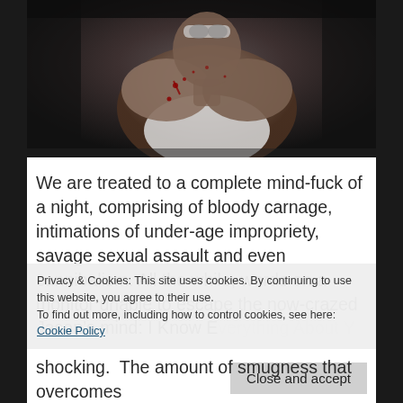[Figure (photo): A person covered in blood spatters, viewed from behind/side, wearing a white tank top, with goggles on their head, in a dark setting.]
We are treated to a complete mind-fuck of a night, comprising of bloody carnage, intimations of under-age impropriety, savage sexual assault and even cannibalism. All the while, words on a monitor unable to escape the now-crazed Jason’s mind: I Know Everything About Y
Privacy & Cookies: This site uses cookies. By continuing to use this website, you agree to their use.
To find out more, including how to control cookies, see here: Cookie Policy
shocking. The amount of smugness that overcomes